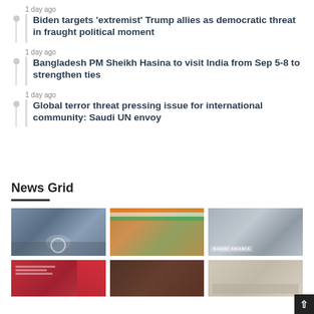1 day ago
Biden targets ‘extremist’ Trump allies as democratic threat in fraught political moment
1 day ago
Bangladesh PM Sheikh Hasina to visit India from Sep 5-8 to strengthen ties
1 day ago
Global terror threat pressing issue for international community: Saudi UN envoy
News Grid
[Figure (photo): Biden with officials at podium with presidential seal]
[Figure (photo): Sheikh Hasina and Narendra Modi shaking hands, Indian flag in background]
[Figure (photo): Saudi Arabia UN representative at conference table with SAUDI ARABIA nameplate]
[Figure (photo): Red curtain event with Hindi text banner]
[Figure (photo): Dark scene with figures]
[Figure (photo): Group seated at meeting table]